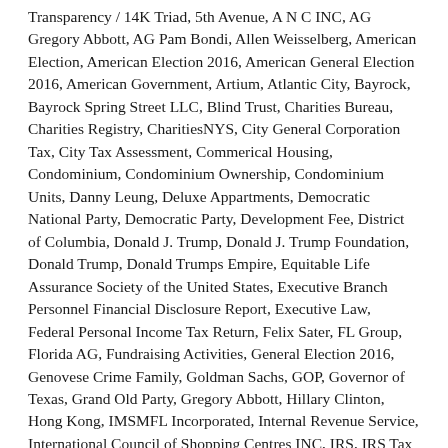Transparency / 14K Triad, 5th Avenue, A N C INC, AG Gregory Abbott, AG Pam Bondi, Allen Weisselberg, American Election, American Election 2016, American General Election 2016, American Government, Artium, Atlantic City, Bayrock, Bayrock Spring Street LLC, Blind Trust, Charities Bureau, Charities Registry, CharitiesNYS, City General Corporation Tax, City Tax Assessment, Commerical Housing, Condominium, Condominium Ownership, Condominium Units, Danny Leung, Deluxe Appartments, Democratic National Party, Democratic Party, Development Fee, District of Columbia, Donald J. Trump, Donald J. Trump Foundation, Donald Trump, Donald Trumps Empire, Equitable Life Assurance Society of the United States, Executive Branch Personnel Financial Disclosure Report, Executive Law, Federal Personal Income Tax Return, Felix Sater, FL Group, Florida AG, Fundraising Activities, General Election 2016, Genovese Crime Family, Goldman Sachs, GOP, Governor of Texas, Grand Old Party, Gregory Abbott, Hillary Clinton, Hong Kong, IMSMFL Incorporated, Internal Revenue Service, International Council of Shopping Centres INC, IRS, IRS Tax Revenue, Jack